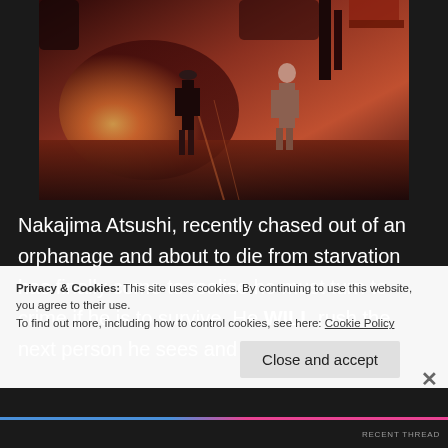[Figure (illustration): Anime screenshot showing two characters standing on what appears to be a bridge or waterfront at dusk/sunset with reddish-orange tones. One character on the left wears dark clothing and one on the right wears lighter clothes.]
Nakajima Atsushi, recently chased out of an orphanage and about to die from starvation has finally come to realize he must turn to crime if he is to survive. He WILL rush the next person he sees and
Privacy & Cookies: This site uses cookies. By continuing to use this website, you agree to their use.
To find out more, including how to control cookies, see here: Cookie Policy
Close and accept